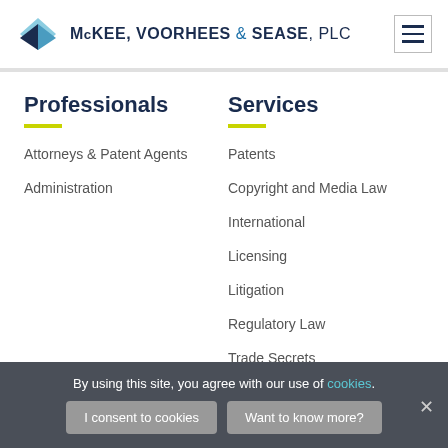[Figure (logo): McKee, Voorhees & Sease, PLC logo with blue paper airplane icon and firm name]
Professionals
Attorneys & Patent Agents
Administration
Services
Patents
Copyright and Media Law
International
Licensing
Litigation
Regulatory Law
Trade Secrets
By using this site, you agree with our use of cookies.
I consent to cookies | Want to know more?